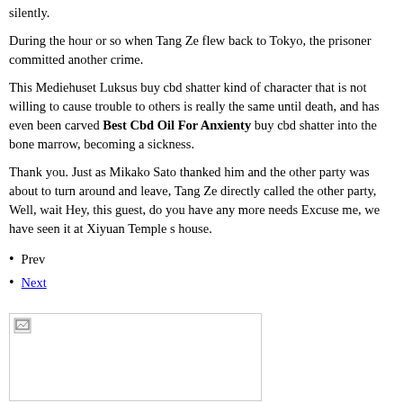silently.
During the hour or so when Tang Ze flew back to Tokyo, the prisoner committed another crime.
This Mediehuset Luksus buy cbd shatter kind of character that is not willing to cause trouble to others is really the same until death, and has even been carved Best Cbd Oil For Anxienty buy cbd shatter into the bone marrow, becoming a sickness.
Thank you. Just as Mikako Sato thanked him and the other party was about to turn around and leave, Tang Ze directly called the other party, Well, wait Hey, this guest, do you have any more needs Excuse me, we have seen it at Xiyuan Temple s house.
Prev
Next
[Figure (photo): Broken image placeholder — a rectangle with a broken image icon in the top-left corner]